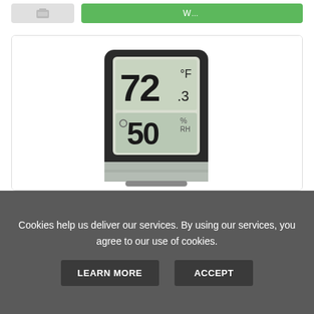[Figure (screenshot): Partial buttons from previous product card — gray button and green button]
[Figure (photo): ThermoPro mini LCD digital indoor hygrometer/thermometer device showing 72.3°F temperature and 50% humidity on LCD display]
ThermoPro mini LCD Digital Indoor Hygro...
$9.99
Cookies help us deliver our services. By using our services, you agree to our use of cookies.
LEARN MORE
ACCEPT